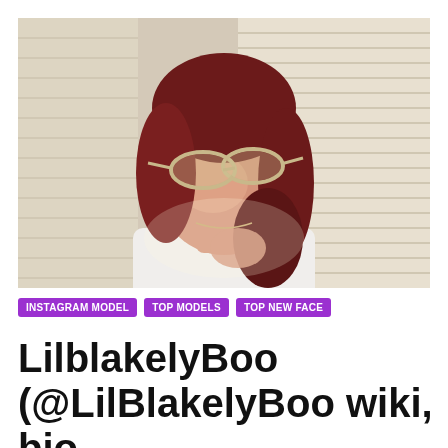[Figure (photo): Young woman with red/dark auburn hair, wearing large light-colored cat-eye sunglasses and a white tank top, posing indoors near window blinds in bright sunlight.]
INSTAGRAM MODEL   TOP MODELS   TOP NEW FACE
LilblakelyBoo (@LilBlakelyBoo wiki, bio, boyfriend, onlyfan, family,